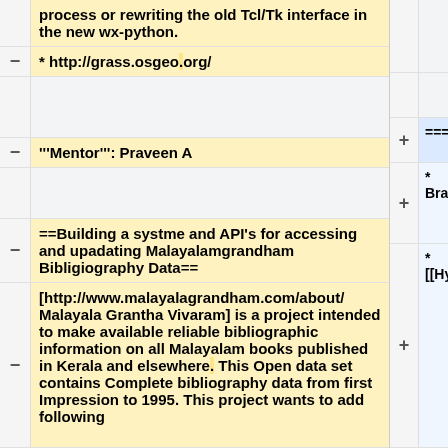process or rewriting the old Tcl/Tk interface in the new wx-python.
* http://grass.osgeo.org/
'''Mentor''': Praveen A
==Building a systme and API's for accessing and upadating Malayalamgrandham Bibligiography Data==
[http://www.malayalagrandham.com/about/ Malayala Grantha Vivaram]  is a project intended to make available reliable bibliographic information on all Malayalam books published in Kerala and elsewhere. This Open data set contains Complete bibliography data from first Impression to 1995. This project wants to add following
===M
* Bra
* [[Hy